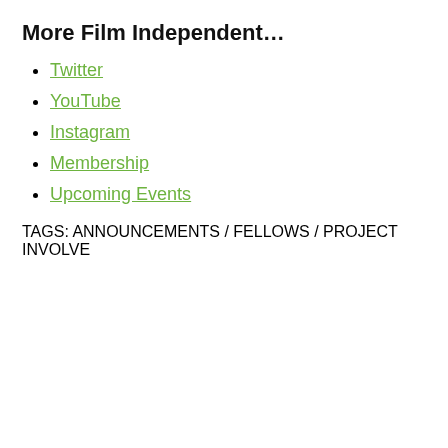More Film Independent…
Twitter
YouTube
Instagram
Membership
Upcoming Events
TAGS: ANNOUNCEMENTS / FELLOWS / PROJECT INVOLVE